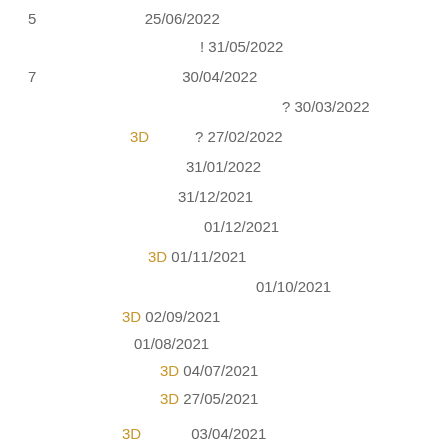5   25/06/2022
! 31/05/2022
7   30/04/2022
? 30/03/2022
3D   ? 27/02/2022
31/01/2022
31/12/2021
01/12/2021
3D 01/11/2021
01/10/2021
3D 02/09/2021
01/08/2021
3D 04/07/2021
3D 27/05/2021
3D   03/04/2021